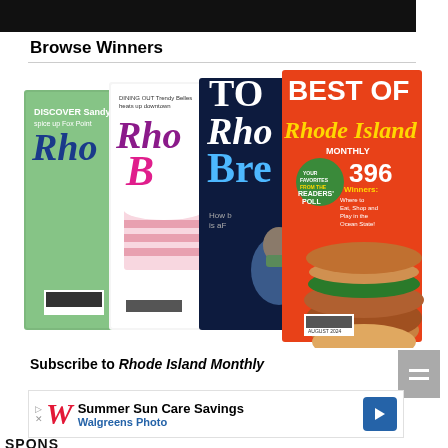[Figure (photo): Black banner at top of page]
Browse Winners
[Figure (photo): Stack of four Rhode Island Monthly magazine covers including 'Best of Rhode Island' issue with burger on cover, showing 396 winners from Readers Poll]
Subscribe to Rhode Island Monthly
[Figure (photo): Advertisement for Walgreens Photo: Summer Sun Care Savings with Walgreens logo and blue arrow icon]
SPONSORED CONTENT